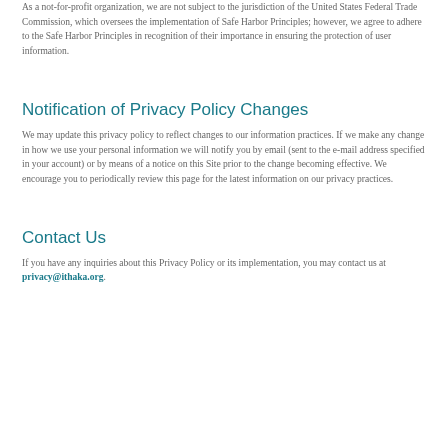to the extent an appeal may be lawfully waived.
As a not-for-profit organization, we are not subject to the jurisdiction of the United States Federal Trade Commission, which oversees the implementation of Safe Harbor Principles; however, we agree to adhere to the Safe Harbor Principles in recognition of their importance in ensuring the protection of user information.
Notification of Privacy Policy Changes
We may update this privacy policy to reflect changes to our information practices. If we make any change in how we use your personal information we will notify you by email (sent to the e-mail address specified in your account) or by means of a notice on this Site prior to the change becoming effective. We encourage you to periodically review this page for the latest information on our privacy practices.
Contact Us
If you have any inquiries about this Privacy Policy or its implementation, you may contact us at privacy@ithaka.org.